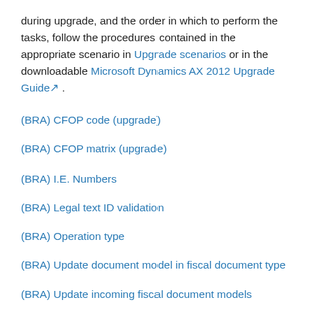during upgrade, and the order in which to perform the tasks, follow the procedures contained in the appropriate scenario in Upgrade scenarios or in the downloadable Microsoft Dynamics AX 2012 Upgrade Guide.
(BRA) CFOP code (upgrade)
(BRA) CFOP matrix (upgrade)
(BRA) I.E. Numbers
(BRA) Legal text ID validation
(BRA) Operation type
(BRA) Update document model in fiscal document type
(BRA) Update incoming fiscal document models
(CHN) Configure for tax integration upgrade